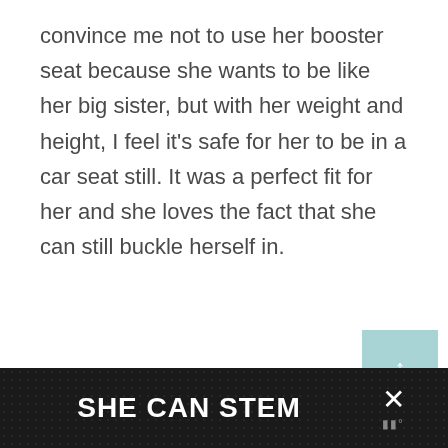convince me not to use her booster seat because she wants to be like her big sister, but with her weight and height, I feel it’s safe for her to be in a car seat still. It was a perfect fit for her and she loves the fact that she can still buckle herself in.
[Figure (other): A light teal/aqua colored scroll-to-top button with an upward arrow symbol, positioned in the lower right area of the page]
SHE CAN STEM